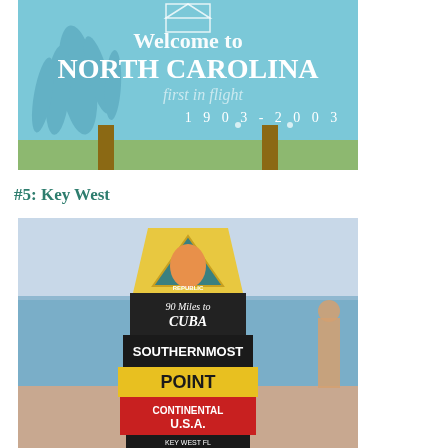[Figure (photo): Welcome to North Carolina sign reading 'Welcome to North Carolina, first in flight, 1903-2003' with blue background and grass/sea oats imagery, mounted on wooden posts]
#5: Key West
[Figure (photo): Key West Southernmost Point buoy marker, a large colorful buoy-shaped monument with red, black, and yellow bands reading '90 Miles to Cuba', 'SOUTHERNMOST POINT', 'Continental U.S.A.', 'KEY WEST FL', with a conch republic triangle emblem at top, ocean visible in background]